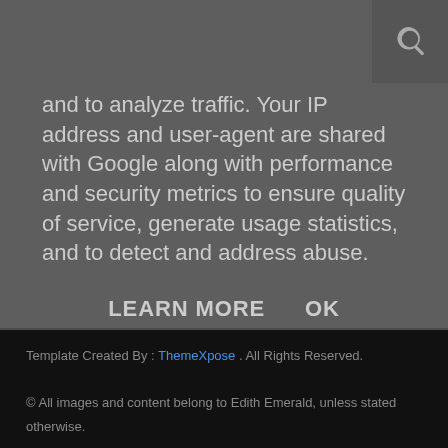and to analyze traffic. Your IP address and user-agent are shared with Google along with performance and security metrics to ensure quality of service, generate usage statistics, and to detect and address abuse.
LEARN MORE   OK
[Figure (screenshot): Message textarea input field with placeholder text 'Message' and a Send button below it]
Template Created By : ThemeXpose . All Rights Reserved.
© All images and content belong to Edith Emerald, unless stated otherwise.